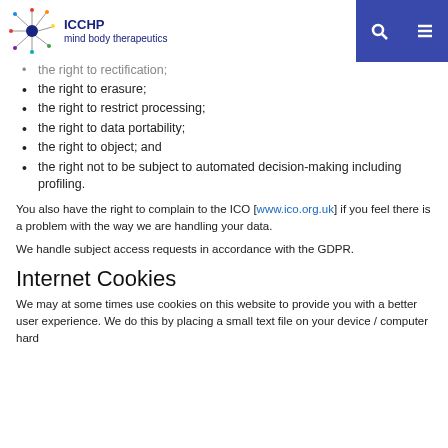ICCHP mind body therapeutics
the right to rectification;
the right to erasure;
the right to restrict processing;
the right to data portability;
the right to object; and
the right not to be subject to automated decision-making including profiling.
You also have the right to complain to the ICO [www.ico.org.uk] if you feel there is a problem with the way we are handling your data.
We handle subject access requests in accordance with the GDPR.
Internet Cookies
We may at some times use cookies on this website to provide you with a better user experience. We do this by placing a small text file on your device / computer hard drive...